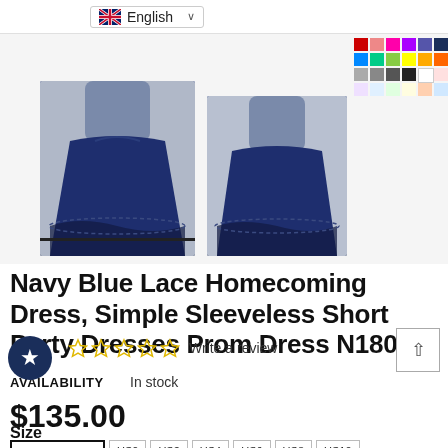English
[Figure (photo): Two product photos of a navy blue lace homecoming dress on a model, shown from different angles. A color swatch grid appears in the upper right corner.]
Navy Blue Lace Homecoming Dress, Simple Sleeveless Short Party Dresses Prom Dress N1808
☆☆☆☆☆ Write a review
AVAILABILITY    In stock
$135.00
Size
CUSTOM SIZE  US0  US2  US4  US6  US8  US10